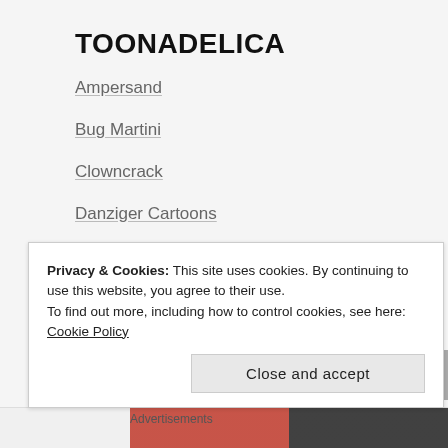TOONADELICA
Ampersand
Bug Martini
Clowncrack
Danziger Cartoons
Doonesbury Town Hall
John Cole Cartoons
Saturday Morning Breakfast Cereal
XKCD
Privacy & Cookies: This site uses cookies. By continuing to use this website, you agree to their use.
To find out more, including how to control cookies, see here: Cookie Policy
Close and accept
Advertisements